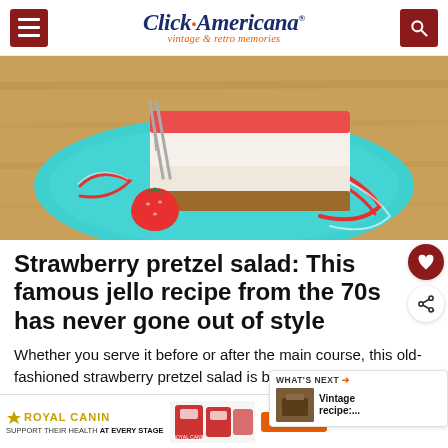Click Americana — vintage & retro memories
[Figure (photo): A slice of strawberry pretzel salad on a teal/turquoise plate with strawberry sauce swirls, on a wooden surface]
Strawberry pretzel salad: This famous jello recipe from the 70s has never gone out of style
Whether you serve it before or after the main course, this old-fashioned strawberry pretzel salad is bright & colorful, sweet &
[Figure (photo): WHAT'S NEXT thumbnail — Vintage recipe]
[Figure (advertisement): Royal Canin — Support their health at every stage — PetSmart shop now ad]